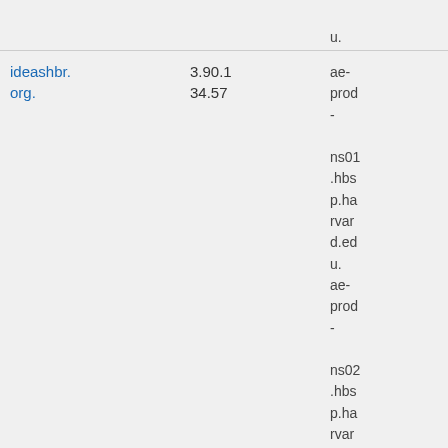| Domain | Score | Server |
| --- | --- | --- |
| ideashbr.org. | 3.90.1
34.57 | ae-prod-ns01.hbsp.harvard.edu.
ae-prod-ns02.hbsp.harvard.edu.
ae-qa- |